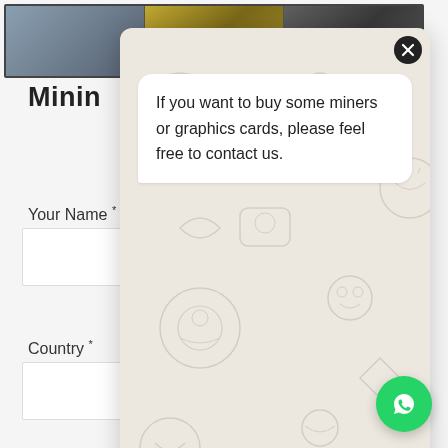[Figure (screenshot): Top bar with three industrial/mining equipment photos]
Minin...
Your Name *
Country *
[Figure (screenshot): WhatsApp chat overlay with message: If you want to buy some miners or graphics cards, please feel free to contact us. Contains close button (x), chat bubble, text input field, and send button.]
[Figure (logo): WhatsApp floating action button (green circle with WhatsApp phone icon)]